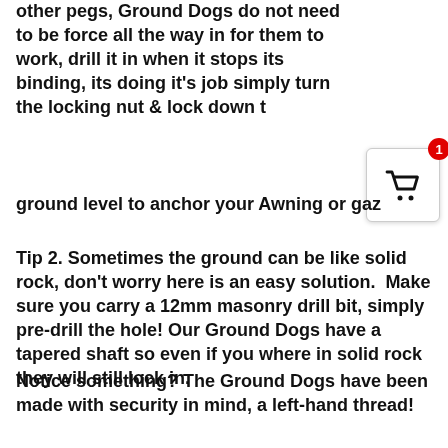other pegs, Ground Dogs do not need to be force all the way in for them to work, drill it in when it stops its binding, its doing it's job simply turn the locking nut & lock down to the ground level to anchor your Awning or gaz
[Figure (infographic): Shopping cart icon widget with red badge showing number 1, white background, rounded border]
Tip 2. Sometimes the ground can be like solid rock, don't worry here is an easy solution.  Make sure you carry a 12mm masonry drill bit, simply pre-drill the hole! Our Ground Dogs have a tapered shaft so even if you where in solid rock they will still lock in.
Notice something? The Ground Dogs have been made with security in mind, a left-hand thread!